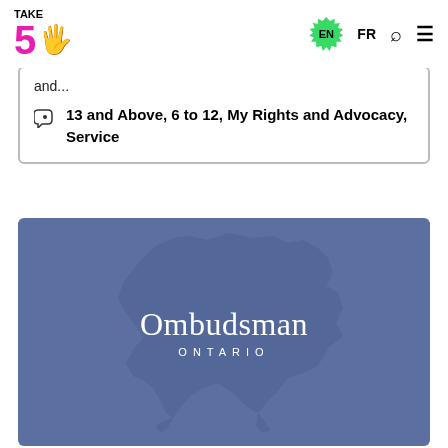TAKE 5 | EN | FR | Search | Menu
and...
13 and Above, 6 to 12, My Rights and Advocacy, Service
[Figure (logo): Ombudsman Ontario logo on blue background with Ontario map silhouette]